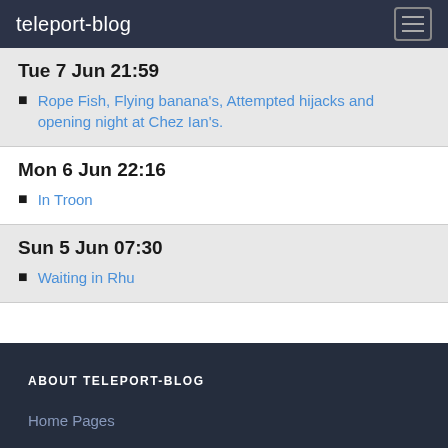teleport-blog
Tue 7 Jun 21:59
Rope Fish, Flying banana's, Attempted hijacks and opening night at Chez Ian's.
Mon 6 Jun 22:16
In Troon
Sun 5 Jun 07:30
Waiting in Rhu
ABOUT TELEPORT-BLOG
Home Pages